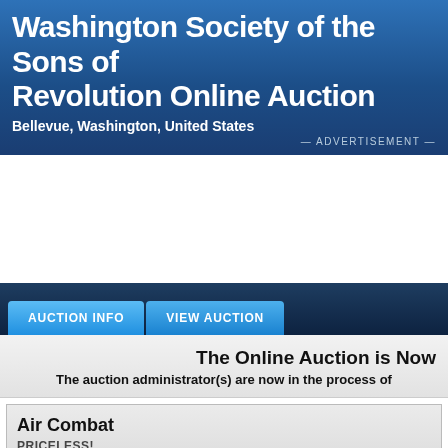Washington Society of the Sons of Revolution Online Auction
Bellevue, Washington, United States
— ADVERTISEMENT —
[Figure (other): White advertisement placeholder space]
AUCTION INFO  VIEW AUCTION
The Online Auction is Now
The auction administrator(s) are now in the process of
Air Combat
PRICELESS!
| ITEM ID | STARTING BID |
| --- | --- |